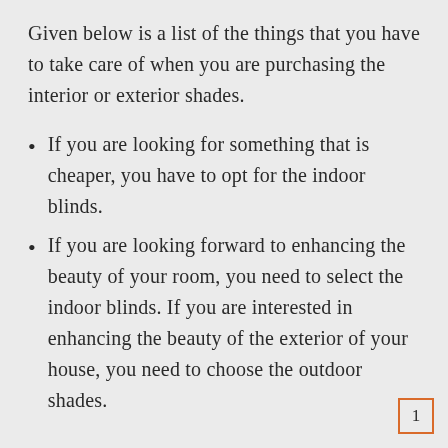Given below is a list of the things that you have to take care of when you are purchasing the interior or exterior shades.
If you are looking for something that is cheaper, you have to opt for the indoor blinds.
If you are looking forward to enhancing the beauty of your room, you need to select the indoor blinds. If you are interested in enhancing the beauty of the exterior of your house, you need to choose the outdoor shades.
1